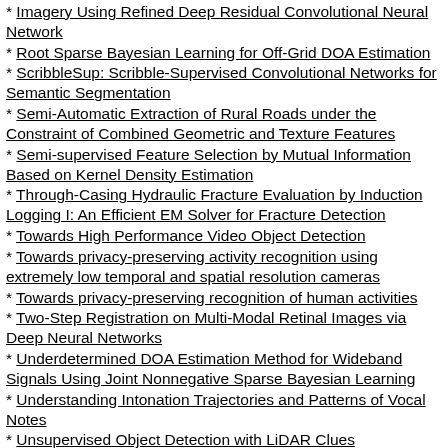Imagery Using Refined Deep Residual Convolutional Neural Network
Root Sparse Bayesian Learning for Off-Grid DOA Estimation
ScribbleSup: Scribble-Supervised Convolutional Networks for Semantic Segmentation
Semi-Automatic Extraction of Rural Roads under the Constraint of Combined Geometric and Texture Features
Semi-supervised Feature Selection by Mutual Information Based on Kernel Density Estimation
Through-Casing Hydraulic Fracture Evaluation by Induction Logging I: An Efficient EM Solver for Fracture Detection
Towards High Performance Video Object Detection
Towards privacy-preserving activity recognition using extremely low temporal and spatial resolution cameras
Towards privacy-preserving recognition of human activities
Two-Step Registration on Multi-Modal Retinal Images via Deep Neural Networks
Underdetermined DOA Estimation Method for Wideband Signals Using Joint Nonnegative Sparse Bayesian Learning
Understanding Intonation Trajectories and Patterns of Vocal Notes
Unsupervised Object Detection with LiDAR Clues
Video Person Re-Identification by Temporal Residual Learning
View synthesis with hierarchical clustering based occlusion